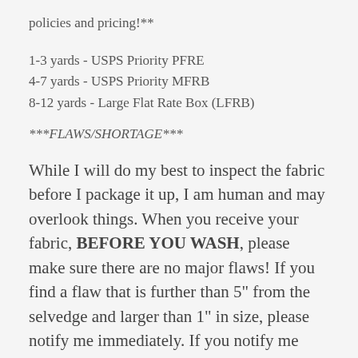policies and pricing!**
1-3 yards - USPS Priority PFRE
4-7 yards - USPS Priority MFRB
8-12 yards - Large Flat Rate Box (LFRB)
***FLAWS/SHORTAGE***
While I will do my best to inspect the fabric before I package it up, I am human and may overlook things. When you receive your fabric, BEFORE YOU WASH, please make sure there are no major flaws! If you find a flaw that is further than 5" from the selvedge and larger than 1" in size, please notify me immediately. If you notify me...